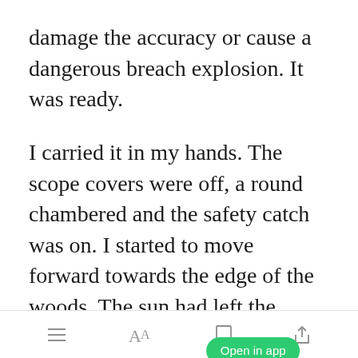damage the accuracy or cause a dangerous breach explosion. It was ready.
I carried it in my hands. The scope covers were off, a round chambered and the safety catch was on. I started to move forward towards the edge of the woods. The sun had left the valley floor now and the shadows lengthened. My doubts had
[toolbar with list, font, bookmark, share icons] [Open in app toast]